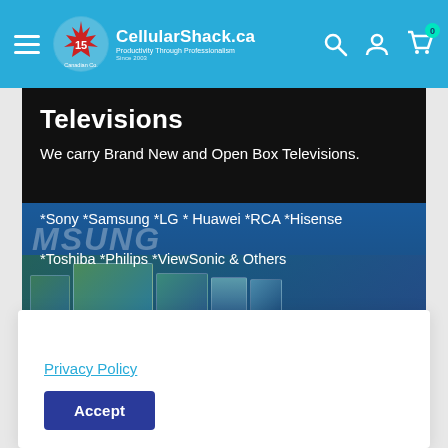CellularShack.ca — Productivity Through Professionalism
Televisions
We carry Brand New and Open Box Televisions.
*Sony *Samsung *LG * Huawei *RCA *Hisense
*Toshiba *Philips *ViewSonic & Others
Privacy Policy
Accept
Same day shipping!